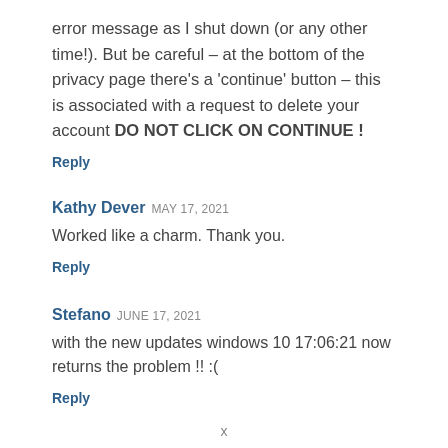error message as I shut down (or any other time!). But be careful – at the bottom of the privacy page there's a 'continue' button – this is associated with a request to delete your account DO NOT CLICK ON CONTINUE !
Reply
Kathy Dever  MAY 17, 2021
Worked like a charm. Thank you.
Reply
Stefano  JUNE 17, 2021
with the new updates windows 10 17:06:21 now returns the problem !! :(
Reply
x